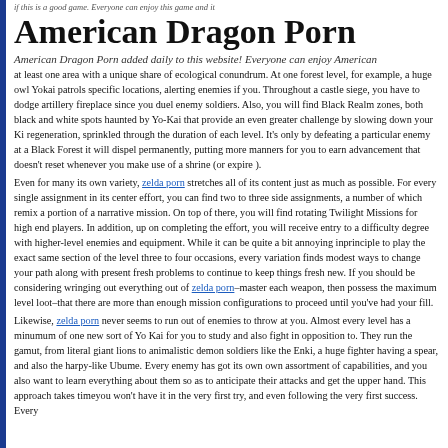if this is a good game. Everyone can enjoy this game and it
American Dragon Porn
American Dragon Porn added daily to this website! Everyone can enjoy American
at least one area with a unique share of ecological conundrum. At one forest level, for example, a huge owl Yokai patrols specific locations, alerting enemies if you. Throughout a castle siege, you have to dodge artillery fireplace since you duel enemy soldiers. Also, you will find Black Realm zones, both black and white spots haunted by Yo-Kai that provide an even greater challenge by slowing down your Ki regeneration, sprinkled through the duration of each level. It's only by defeating a particular enemy at a Black Forest it will dispel permanently, putting more manners for you to earn advancement that doesn't reset whenever you make use of a shrine (or expire ).
Even for many its own variety, zelda porn stretches all of its content just as much as possible. For every single assignment in its center effort, you can find two to three side assignments, a number of which remix a portion of a narrative mission. On top of there, you will find rotating Twilight Missions for high end players. In addition, up on completing the effort, you will receive entry to a difficulty degree with higher-level enemies and equipment. While it can be quite a bit annoying inprinciple to play the exact same section of the level three to four occasions, every variation finds modest ways to change your path along with present fresh problems to continue to keep things fresh new. If you should be considering wringing out everything out of zelda porn–master each weapon, then possess the maximum level loot–that there are more than enough mission configurations to proceed until you've had your fill.
Likewise, zelda porn never seems to run out of enemies to throw at you. Almost every level has a minumum of one new sort of Yo Kai for you to study and also fight in opposition to. They run the gamut, from literal giant lions to animalistic demon soldiers like the Enki, a huge fighter having a spear, and also the harpy-like Ubume. Every enemy has got its own own assortment of capabilities, and you also want to learn everything about them so as to anticipate their attacks and get the upper hand. This approach takes timeyou won't have it in the very first try, and even following the very first success. Every